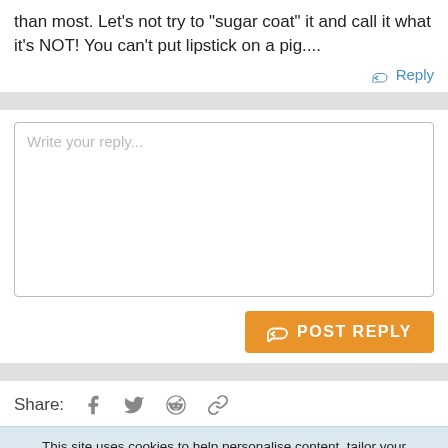than most. Let's not try to "sugar coat" it and call it what it's NOT! You can't put lipstick on a pig....
↩ Reply
Write your reply...
POST REPLY
Share:
This site uses cookies to help personalise content, tailor your experience and to keep you logged in if you register. By continuing to use this site, you are consenting to our use of cookies.
✓ ACCEPT
LEARN MORE...